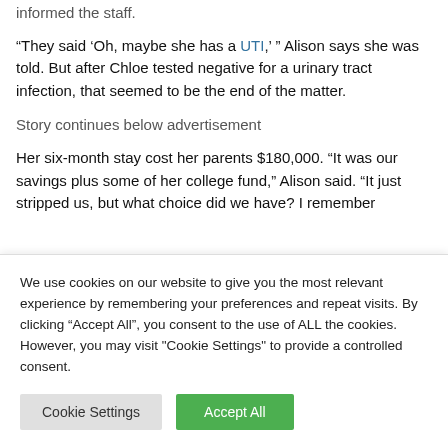informed the staff.
“They said ‘Oh, maybe she has a UTI,’ ” Alison says she was told. But after Chloe tested negative for a urinary tract infection, that seemed to be the end of the matter.
Story continues below advertisement
Her six-month stay cost her parents $180,000. “It was our savings plus some of her college fund,” Alison said. “It just stripped us, but what choice did we have? I remember
We use cookies on our website to give you the most relevant experience by remembering your preferences and repeat visits. By clicking “Accept All”, you consent to the use of ALL the cookies. However, you may visit "Cookie Settings" to provide a controlled consent.